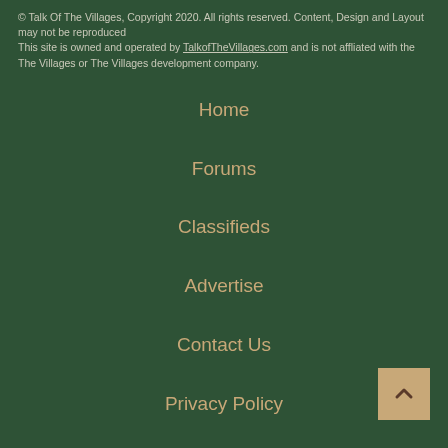© Talk Of The Villages, Copyright 2020. All rights reserved. Content, Design and Layout may not be reproduced
This site is owned and operated by TalkofTheVillages.com and is not affliated with the The Villages or The Villages development company.
Home
Forums
Classifieds
Advertise
Contact Us
Privacy Policy
Website Rules